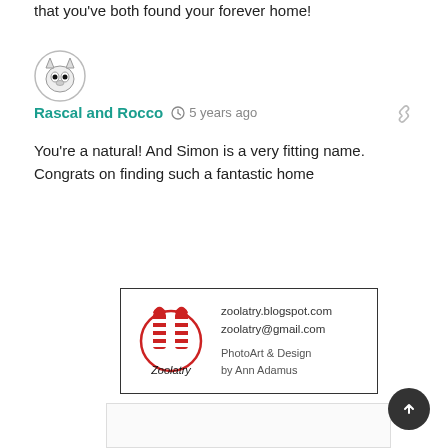that you've both found your forever home!
[Figure (illustration): Circular avatar icon showing a black and white animal (possibly a dog/cat) face in a circle]
Rascal and Rocco  5 years ago
You're a natural! And Simon is a very fitting name. Congrats on finding such a fantastic home
[Figure (logo): Zoolatry logo card with two striped legs/paws icon in red, text: zoolatry.blogspot.com, zoolatry@gmail.com, PhotoArt & Design by Ann Adamus]
[Figure (other): Partially visible card/post at the bottom of the page]